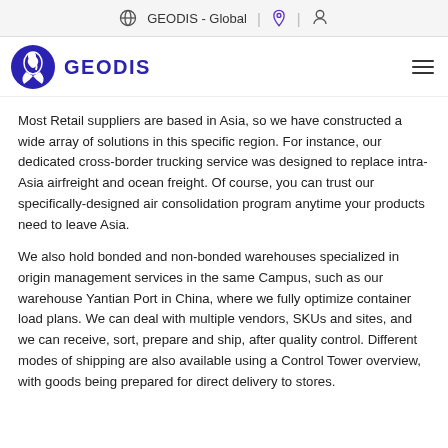GEODIS - Global
Most Retail suppliers are based in Asia, so we have constructed a wide array of solutions in this specific region. For instance, our dedicated cross-border trucking service was designed to replace intra-Asia airfreight and ocean freight. Of course, you can trust our specifically-designed air consolidation program anytime your products need to leave Asia.
We also hold bonded and non-bonded warehouses specialized in origin management services in the same Campus, such as our warehouse Yantian Port in China, where we fully optimize container load plans. We can deal with multiple vendors, SKUs and sites, and we can receive, sort, prepare and ship, after quality control. Different modes of shipping are also available using a Control Tower overview, with goods being prepared for direct delivery to stores.